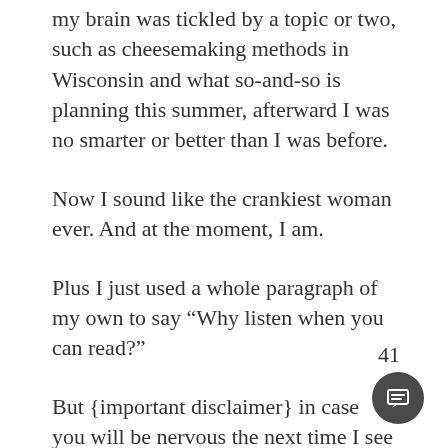my brain was tickled by a topic or two, such as cheesemaking methods in Wisconsin and what so-and-so is planning this summer, afterward I was no smarter or better than I was before.
Now I sound like the crankiest woman ever. And at the moment, I am.
Plus I just used a whole paragraph of my own to say “Why listen when you can read?”
But {important disclaimer} in case you will be nervous the next time I see you, I don’t mind verbal rambling in person. Over coffee or after church, you may dither and yaw away. That’s my home turf. It’s recorded rambling that I dislike,
41